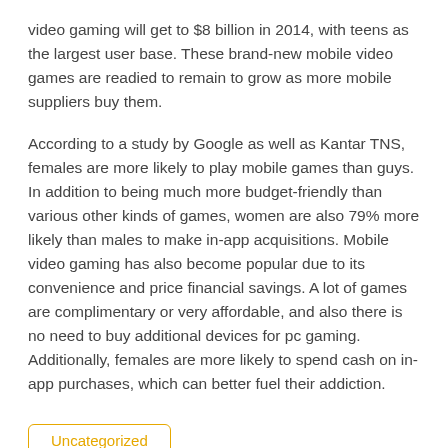video gaming will get to $8 billion in 2014, with teens as the largest user base. These brand-new mobile video games are readied to remain to grow as more mobile suppliers buy them.
According to a study by Google as well as Kantar TNS, females are more likely to play mobile games than guys. In addition to being much more budget-friendly than various other kinds of games, women are also 79% more likely than males to make in-app acquisitions. Mobile video gaming has also become popular due to its convenience and price financial savings. A lot of games are complimentary or very affordable, and also there is no need to buy additional devices for pc gaming. Additionally, females are more likely to spend cash on in-app purchases, which can better fuel their addiction.
Uncategorized